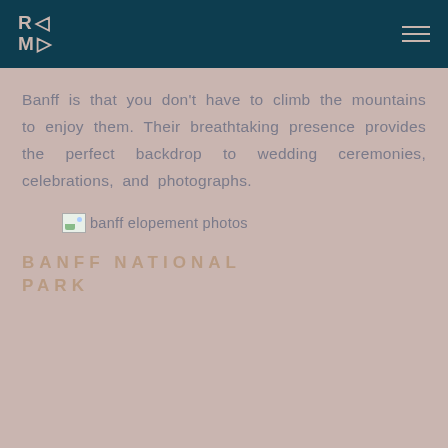RC MD [logo] [hamburger menu]
Banff is that you don't have to climb the mountains to enjoy them. Their breathtaking presence provides the perfect backdrop to wedding ceremonies, celebrations, and photographs.
[Figure (photo): Placeholder image icon labeled 'banff elopement photos']
BANFF NATIONAL PARK